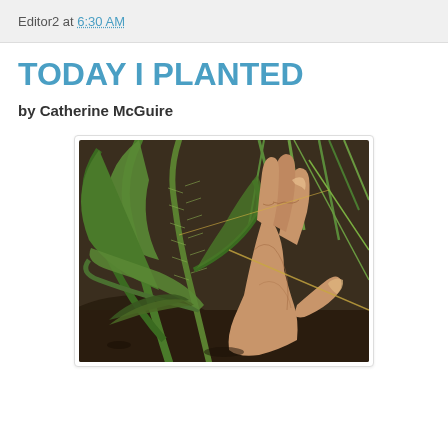Editor2 at 6:30 AM
TODAY I PLANTED
by Catherine McGuire
[Figure (photo): Close-up photograph of a person's hand holding or touching the base of a green plant with large hairy/bristly stems and leaves, with grass and soil visible in the background.]